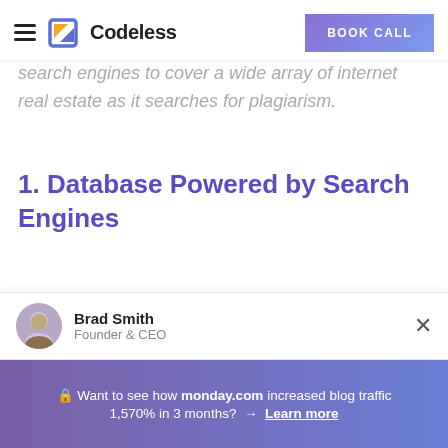Codeless | BOOK CALL
search engines to cover a wide array of internet real estate as it searches for plagiarism.
1. Database Powered by Search Engines
PaperRater checks for plagiarism using the search indexes of Google and Bing
Brad Smith
Founder & CEO
🔒 Want to see how monday.com increased blog traffic 1,570% in 3 months? → Learn more